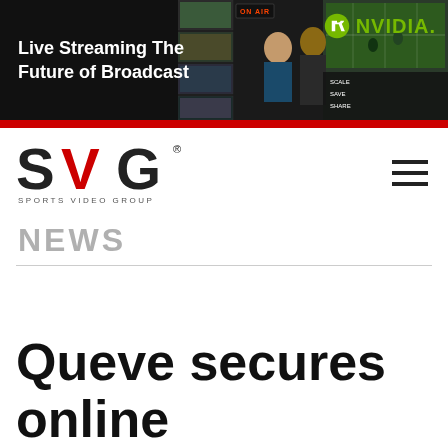[Figure (screenshot): NVIDIA advertisement banner: dark background with broadcast studio scene showing news anchors, 'ON AIR' sign, and NVIDIA logo with tagline 'Live Streaming The Future of Broadcast']
[Figure (logo): SVG Sports Video Group logo with stylized bold letters S, V, G where V is in red, below it reads SPORTS VIDEO GROUP in small caps]
NEWS
Queve secures online